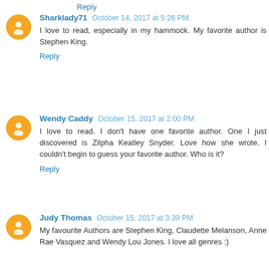Reply
Sharklady71  October 14, 2017 at 5:26 PM
I love to read, especially in my hammock. My favorite author is Stephen King.
Reply
Wendy Caddy  October 15, 2017 at 2:00 PM
I love to read. I don't have one favorite author. One I just discovered is Zilpha Keatley Snyder. Love how she wrote. I couldn't begin to guess your favorite author. Who is it?
Reply
Judy Thomas  October 15, 2017 at 3:39 PM
My favourite Authors are Stephen King, Claudette Melanson, Anne Rae Vasquez and Wendy Lou Jones. I love all genres :)